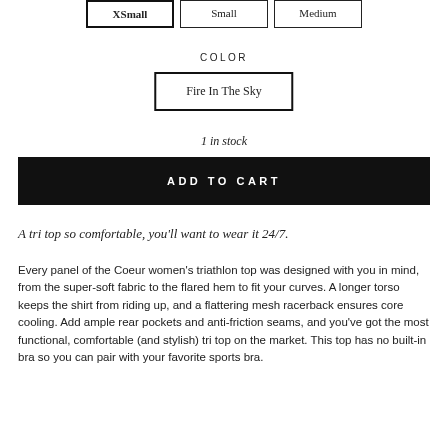XSmall
Small
Medium
COLOR
Fire In The Sky
1 in stock
ADD TO CART
A tri top so comfortable, you'll want to wear it 24/7.
Every panel of the Coeur women's triathlon top was designed with you in mind, from the super-soft fabric to the flared hem to fit your curves. A longer torso keeps the shirt from riding up, and a flattering mesh racerback ensures core cooling. Add ample rear pockets and anti-friction seams, and you've got the most functional, comfortable (and stylish) tri top on the market. This top has no built-in bra so you can pair with your favorite sports bra.